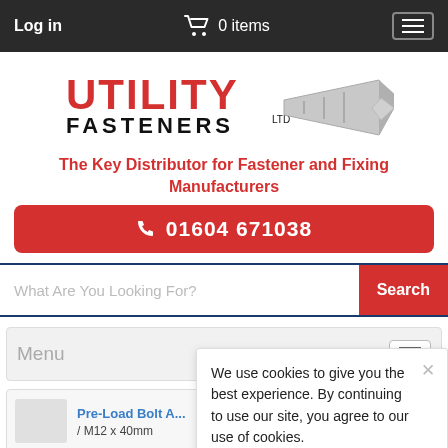Log in   🛒 0 items   ☰
[Figure (logo): Utility Fasteners Ltd logo with red UTILITY text and grey bolt graphic]
The Key Distributor for Fastener and Fixing Manufacturers
📞 01604 671038
What Are You Looking For?   Search
Menu
Pre-Load Bolt A... / M12 x 40mm
We use cookies to give you the best experience. By continuing to use our site, you agree to our use of cookies.